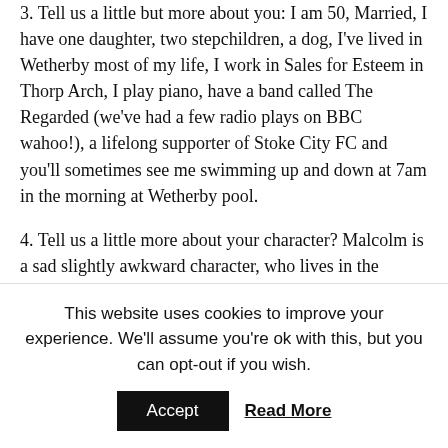3. Tell us a little but more about you: I am 50, Married, I have one daughter, two stepchildren, a dog, I've lived in Wetherby most of my life, I work in Sales for Esteem in Thorp Arch, I play piano, have a band called The Regarded (we've had a few radio plays on BBC wahoo!), a lifelong supporter of Stoke City FC and you'll sometimes see me swimming up and down at 7am in the morning at Wetherby pool.
4. Tell us a little more about your character? Malcolm is a sad slightly awkward character, who lives in the shadow of his mother.  When he gets some friends in
This website uses cookies to improve your experience. We'll assume you're ok with this, but you can opt-out if you wish.
Accept
Read More